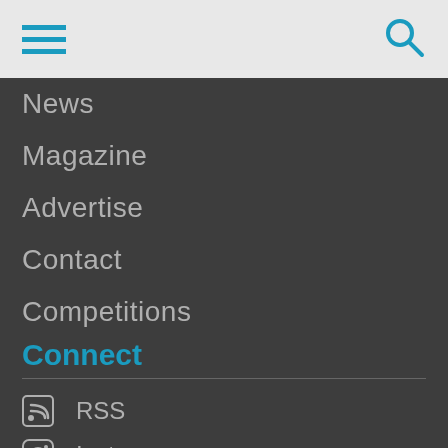[Figure (screenshot): Top navigation bar with hamburger menu icon (three teal horizontal lines) on the left and a teal search/magnifier icon on the right, on a light grey background]
News
Magazine
Advertise
Contact
Competitions
Connect
RSS
Instagram
Vine
Pinterest
Twitter